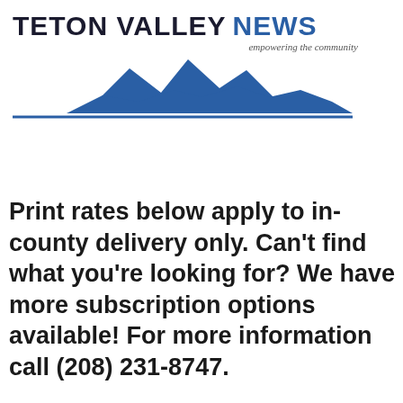[Figure (logo): Teton Valley News logo with mountain silhouette illustration and tagline 'empowering the community']
Print rates below apply to in-county delivery only. Can't find what you're looking for? We have more subscription options available! For more information call (208) 231-8747.